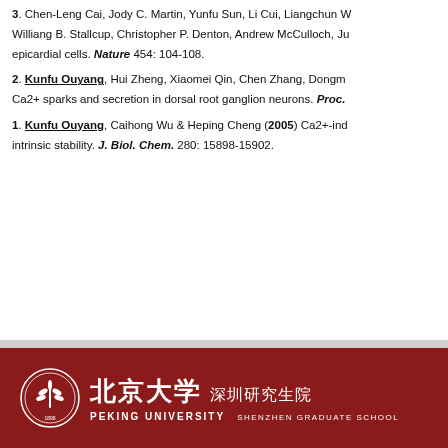3. Chen-Leng Cai, Jody C. Martin, Yunfu Sun, Li Cui, Liangchun W... Williang B. Stallcup, Christopher P. Denton, Andrew McCulloch, Ju... epicardial cells. Nature 454: 104-108.
2. Kunfu Ouyang, Hui Zheng, Xiaomei Qin, Chen Zhang, Dongm... Ca2+ sparks and secretion in dorsal root ganglion neurons. Proc.
1. Kunfu Ouyang, Caihong Wu & Heping Cheng (2005) Ca2+-ind... intrinsic stability. J. Biol. Chem. 280: 15898-15902.
[Figure (logo): Peking University Shenzhen Graduate School footer logo with circular emblem, Chinese characters 北京大学 深圳研究生院, and text PEKING UNIVERSITY SHENZHEN GRADUATE SCHOOL on dark red background]